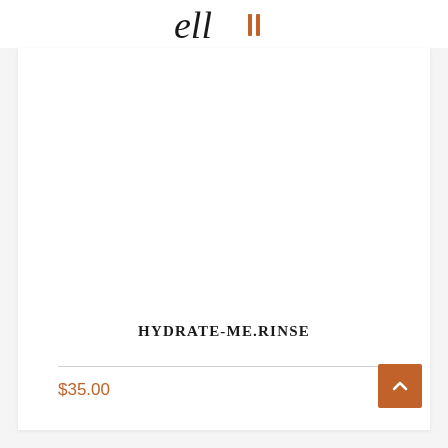ell
[Figure (photo): White product card with empty product image area for HYDRATE-ME.RINSE]
HYDRATE-ME.RINSE
$35.00